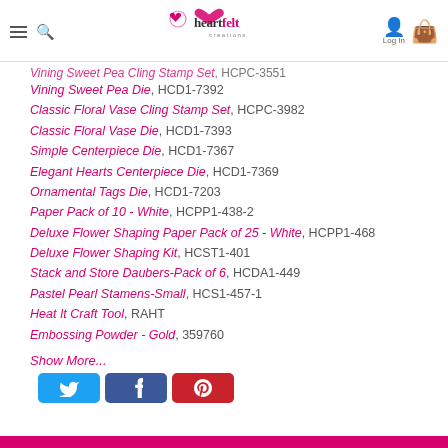Heartfelt Creations — navigation header with logo, menu, search, login, bag
Vining Sweet Pea Cling Stamp Set, HCPC-3551 (partially visible)
Vining Sweet Pea Die, HCD1-7392
Classic Floral Vase Cling Stamp Set, HCPC-3982
Classic Floral Vase Die, HCD1-7393
Simple Centerpiece Die, HCD1-7367
Elegant Hearts Centerpiece Die, HCD1-7369
Ornamental Tags Die, HCD1-7203
Paper Pack of 10 - White, HCPP1-438-2
Deluxe Flower Shaping Paper Pack of 25 - White, HCPP1-468
Deluxe Flower Shaping Kit, HCST1-401
Stack and Store Daubers-Pack of 6, HCDA1-449
Pastel Pearl Stamens-Small, HCS1-457-1
Heat It Craft Tool, RAHT
Embossing Powder - Gold, 359760
Show More...
[Figure (other): Social sharing buttons: Twitter (blue), Facebook (dark blue), Pinterest (red)]